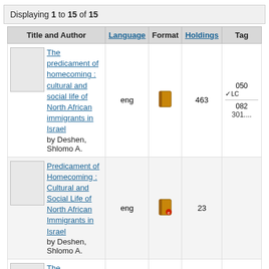Displaying 1 to 15 of 15
| Title and Author | Language | Format | Holdings | Tag |
| --- | --- | --- | --- | --- |
| The predicament of homecoming : cultural and social life of North African immigrants in Israel
by Deshen, Shlomo A. | eng | [book icon] | 463 | 050 ✓LC
DS1...
082
301.... |
| Predicament of Homecoming : Cultural and Social Life of North African Immigrants in Israel
by Deshen, Shlomo A. | eng | [ebook icon] | 23 |  |
| The predicament of... |  |  |  |  |